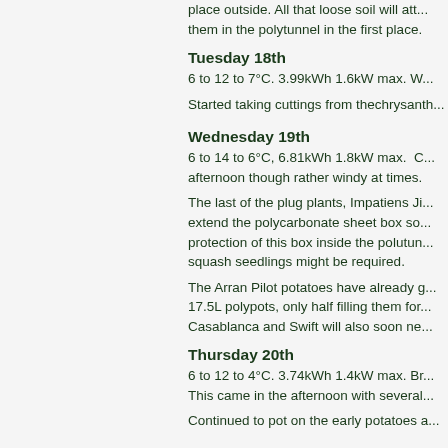place outside. All that loose soil will at... them in the polytunnel in the first place.
Tuesday 18th
6 to 12 to 7°C. 3.99kWh 1.6kW max. W...
Started taking cuttings from the chrysan...
Wednesday 19th
6 to 14 to 6°C, 6.81kWh 1.8kW max.  C... afternoon though rather windy at times.
The last of the plug plants, Impatiens Ji... extend the polycarbonate sheet box so... protection of this box inside the polutun... squash seedlings might be required.
The Arran Pilot potatoes have already g... 17.5L polypots, only half filling them for... Casablanca and Swift will also soon ne...
Thursday 20th
6 to 12 to 4°C. 3.74kWh 1.4kW max. Br... This came in the afternoon with several...
Continued to pot on the early potatoes a...